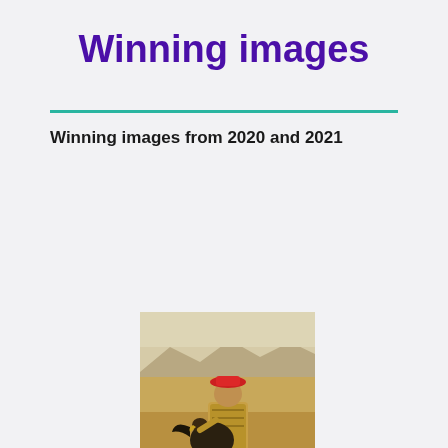Winning images
Winning images from 2020 and 2021
[Figure (photo): A person wearing traditional clothing and a red hat kneeling on desert ground with an eagle, mountains visible in the background under a hazy sky.]